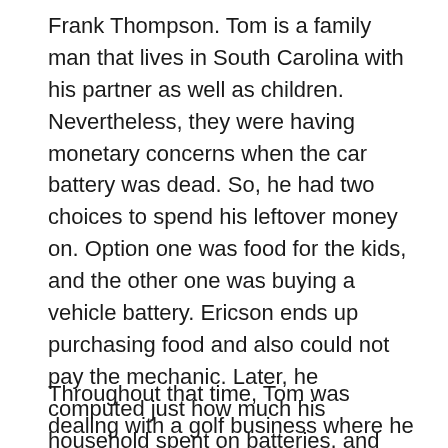Frank Thompson. Tom is a family man that lives in South Carolina with his partner as well as children. Nevertheless, they were having monetary concerns when the car battery was dead. So, he had two choices to spend his leftover money on. Option one was food for the kids, and the other one was buying a vehicle battery. Ericson ends up purchasing food and also could not pay the mechanic. Later, he computed just how much his household spent on batteries, and also the outcome was stunning. Tom started looking into to discover a means to lower spending on batteries.
Throughout that time, Tom was dealing with a golf business where he met Frank